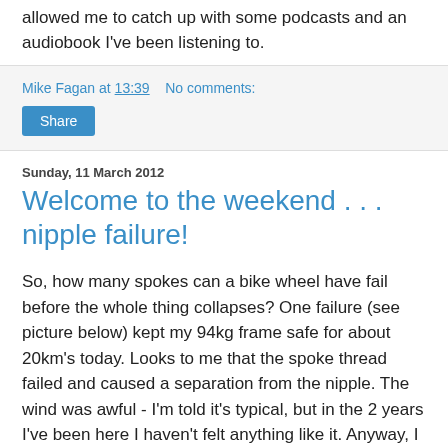allowed me to catch up with some podcasts and an audiobook I've been listening to.
Mike Fagan at 13:39   No comments:
Share
Sunday, 11 March 2012
Welcome to the weekend . . . nipple failure!
So, how many spokes can a bike wheel have fail before the whole thing collapses? One failure (see picture below) kept my 94kg frame safe for about 20km's today. Looks to me that the spoke thread failed and caused a separation from the nipple. The wind was awful - I'm told it's typical, but in the 2 years I've been here I haven't felt anything like it. Anyway, I was half way up a hill near Golf Club de Bonmont heading towards the abbey on the hill. Ping, ping, ping .... an awful